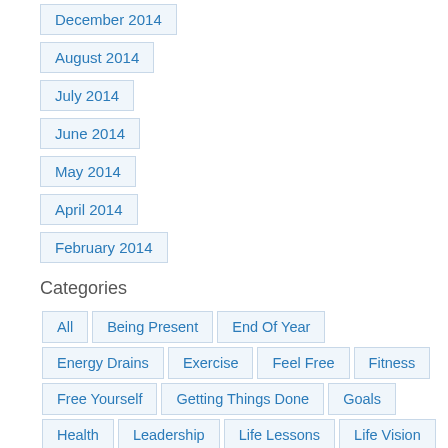December 2014
August 2014
July 2014
June 2014
May 2014
April 2014
February 2014
Categories
All
Being Present
End Of Year
Energy Drains
Exercise
Feel Free
Fitness
Free Yourself
Getting Things Done
Goals
Health
Leadership
Life Lessons
Life Vision
Mind Body Connection
Mind-body Connection
Mindfulness
Recharging Your Batteries
Ritual